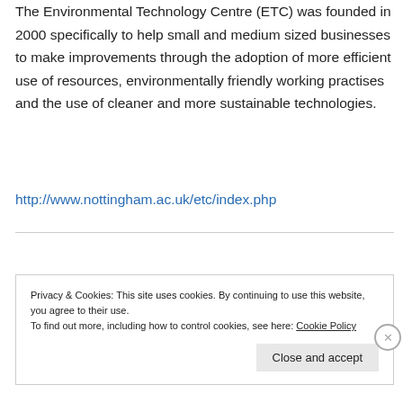The Environmental Technology Centre (ETC) was founded in 2000 specifically to help small and medium sized businesses to make improvements through the adoption of more efficient use of resources, environmentally friendly working practises and the use of cleaner and more sustainable technologies.
http://www.nottingham.ac.uk/etc/index.php
Privacy & Cookies: This site uses cookies. By continuing to use this website, you agree to their use.
To find out more, including how to control cookies, see here: Cookie Policy